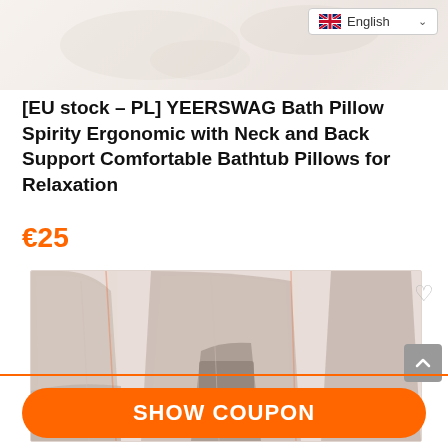[Figure (screenshot): Faded decorative background image at top of page]
[Figure (other): English language selector dropdown in top right corner]
[EU stock – PL] YEERSWAG Bath Pillow Spirity Ergonomic with Neck and Back Support Comfortable Bathtub Pillows for Relaxation
€25
[Figure (photo): Faded/washed out photo of car seat interior with leather seats and center console]
SHOW COUPON